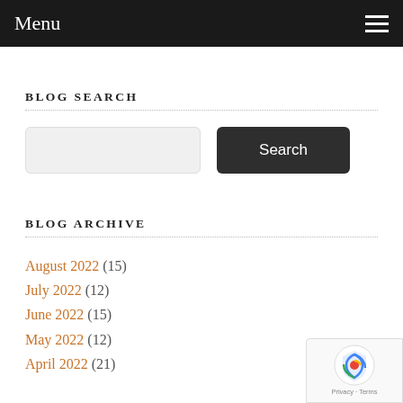Menu
BLOG SEARCH
Search input and button
BLOG ARCHIVE
August 2022 (15)
July 2022 (12)
June 2022 (15)
May 2022 (12)
April 2022 (21)